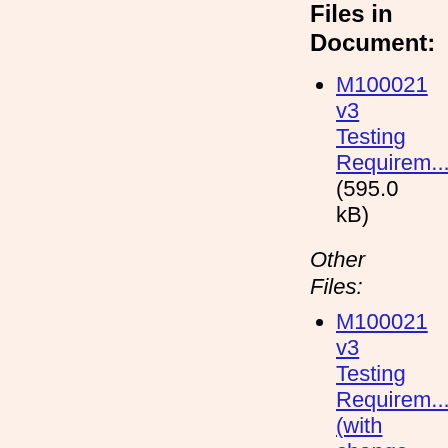Files in Document:
M100021 v3 Testing Requirements (595.0 kB)
Other Files:
M100021 v3 Testing Requirements (with change tracking). (796.0 kB)
M100021 v3 Testing